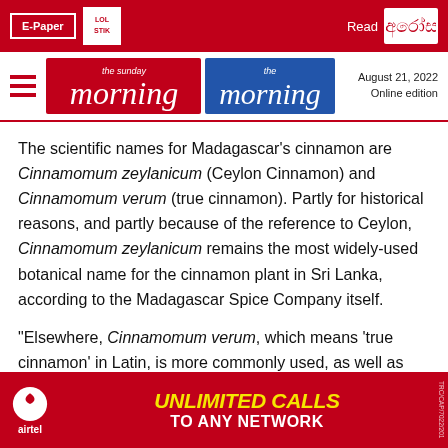E-Paper | [LOL logo] | Read [Sinhala logo]
The Sunday Morning | the morning | August 21, 2022 | Online edition
The scientific names for Madagascar's cinnamon are Cinnamomum zeylanicum (Ceylon Cinnamon) and Cinnamomum verum (true cinnamon). Partly for historical reasons, and partly because of the reference to Ceylon, Cinnamomum zeylanicum remains the most widely-used botanical name for the cinnamon plant in Sri Lanka, according to the Madagascar Spice Company itself.
“Elsewhere, Cinnamomum verum, which means ‘true cinnamon’ in Latin, is more commonly used, as well as the current official scientific name for the plant. After all, ‘true’ refers to ‘real’ cinnamon, which also grows outside Sri Lanka, rather t[han just referring to Ceylon cinnamon, as other types of] cinnamon such as cassia are also originating
[Figure (other): Airtel advertisement banner: UNLIMITED CALLS TO ANY NETWORK]